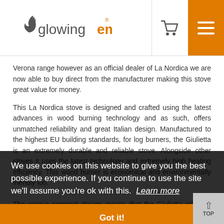glowing embers
Verona range however as an official dealer of La Nordica we are now able to buy direct from the manufacturer making this stove great value for money.
This La Nordica stove is designed and crafted using the latest advances in wood burning technology and as such, offers unmatched reliability and great Italian design. Manufactured to the highest EU building standards, for log burners, the Giulietta is an extremely durable and reliable stove. Alongside other stoves it uses the latest technology and extremely high heating efficiency. This wood burner is economical and environmentally friendly too.

The unique compact design means that the Giulietta will look great and be appreciated in any room. Finished in the best Italian design with outstanding modern heating efficiency. All the minimum safety distances are shown on the product data plate and lower values must not be used.
We use cookies on this website to give you the best possible experience. If you continue to use the site we'll assume you're ok with this.  Learn more
Got it!